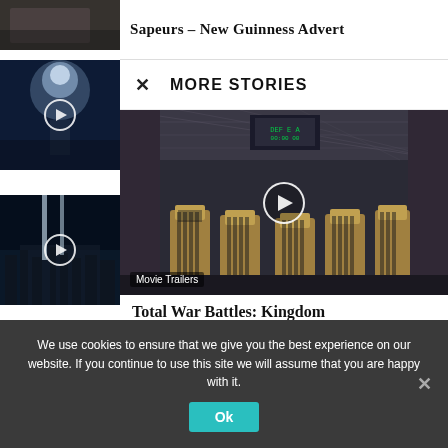[Figure (screenshot): Dark thumbnail image at top left, partially visible]
[Figure (screenshot): Thumbnail with play button - blue sci-fi scene with figure standing in light]
Sapeurs – New Guinness Advert
[Figure (screenshot): Thumbnail with play button - NYC skyline with light beams at night]
MORE STORIES
[Figure (screenshot): Movie trailer thumbnail showing luxury cinema seats with play button overlay. Label: Movie Trailers]
Total War Battles: Kingdom
We use cookies to ensure that we give you the best experience on our website. If you continue to use this site we will assume that you are happy with it.